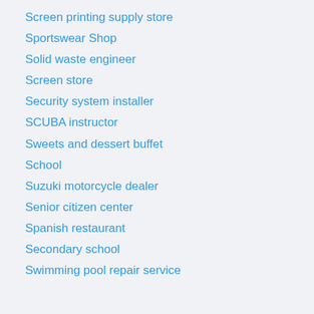Screen printing supply store
Sportswear Shop
Solid waste engineer
Screen store
Security system installer
SCUBA instructor
Sweets and dessert buffet
School
Suzuki motorcycle dealer
Senior citizen center
Spanish restaurant
Secondary school
Swimming pool repair service